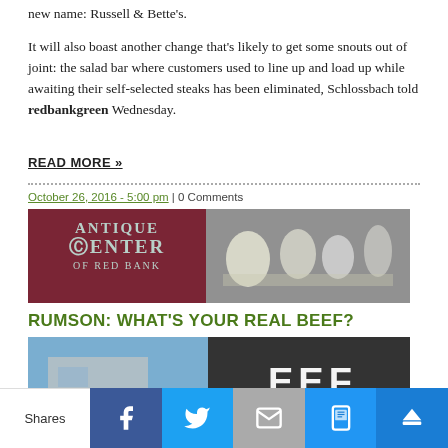new name: Russell & Bette's.
It will also boast another change that's likely to get some snouts out of joint: the salad bar where customers used to line up and load up while awaiting their self-selected steaks has been eliminated, Schlossbach told redbankgreen Wednesday.
READ MORE »
October 26, 2016 - 5:00 pm | 0 Comments
[Figure (photo): Advertisement for Antique Center of Red Bank with vintage items]
RUMSON: WHAT'S YOUR REAL BEEF?
[Figure (photo): Partial photo of building exterior with sign containing letters EEF]
Shares